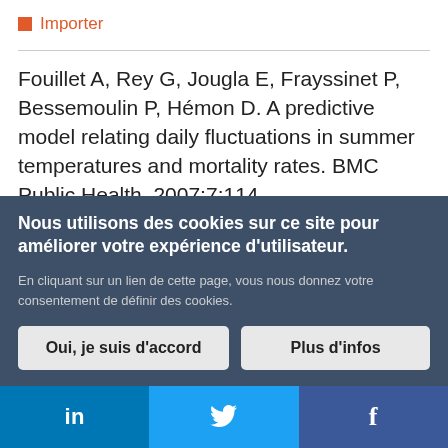Importer
Fouillet A, Rey G, Jougla E, Frayssinet P, Bessemoulin P, Hémon D. A predictive model relating daily fluctuations in summer temperatures and mortality rates. BMC Public Health. 2007;7:114.
Importer
Nous utilisons des cookies sur ce site pour améliorer votre expérience d'utilisateur. En cliquant sur un lien de cette page, vous nous donnez votre consentement de définir des cookies.
Oui, je suis d'accord | Plus d'infos
in  f